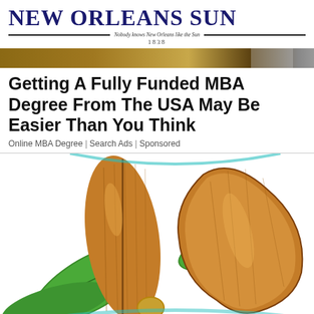NEW ORLEANS SUN — Nobody knows New Orleans like the Sun — 1838
[Figure (photo): Narrow banner image, appears to show a blurred background scene in warm brown tones with a dark object on the right]
Getting A Fully Funded MBA Degree From The USA May Be Easier Than You Think
Online MBA Degree | Search Ads | Sponsored
[Figure (photo): Close-up photo of pecans/almonds with green leaves on a white background]